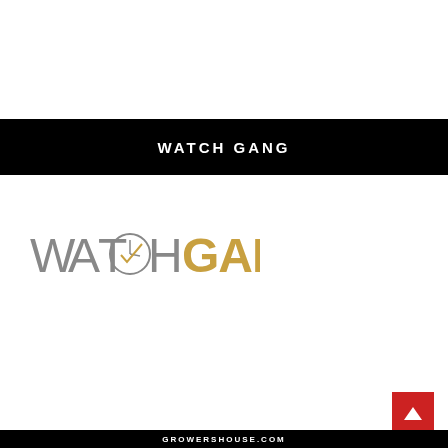WATCH GANG
[Figure (logo): Watch Gang logo with stylized lettering: 'WATCH' in gray and 'GANG' in gold/amber color, with a clock face replacing the 'C' in WATCH]
[Figure (other): Red button with white upward arrow in bottom right corner]
GROWERSHOUSE.COM